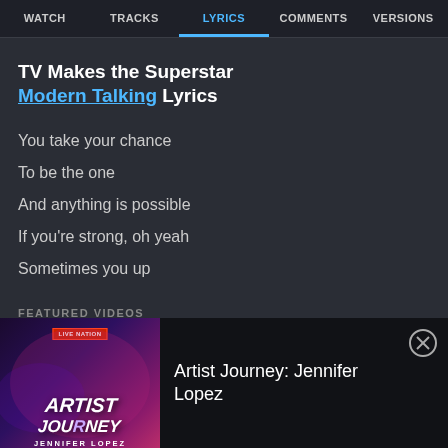WATCH  TRACKS  LYRICS  COMMENTS  VERSIONS
TV Makes the Superstar
Modern Talking Lyrics
You take your chance
To be the one
And anything is possible
If you're strong, oh yeah
Sometimes you up
FEATURED VIDEOS
[Figure (other): Video play button circle with triangle]
[Figure (photo): Artist Journey Jennifer Lopez promotional image with Live Nation badge]
Artist Journey: Jennifer Lopez